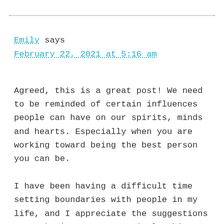dotted rule separator
Emily says
February 22, 2021 at 5:16 am
Agreed, this is a great post! We need to be reminded of certain influences people can have on our spirits, minds and hearts. Especially when you are working toward being the best person you can be.
I have been having a difficult time setting boundaries with people in my life, and I appreciate the suggestions you make in your 1,000 Little Things book about setting and keeping healthy boundaries. And I